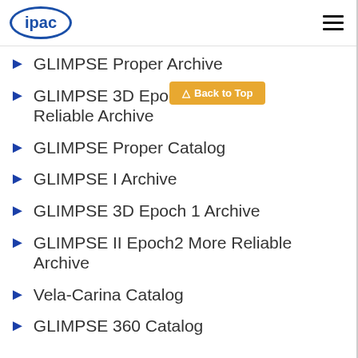ipac
GLIMPSE Proper Archive
GLIMPSE 3D Epoch 2 More Reliable Archive
GLIMPSE Proper Catalog
GLIMPSE I Archive
GLIMPSE 3D Epoch 1 Archive
GLIMPSE II Epoch2 More Reliable Archive
Vela-Carina Catalog
GLIMPSE 360 Catalog